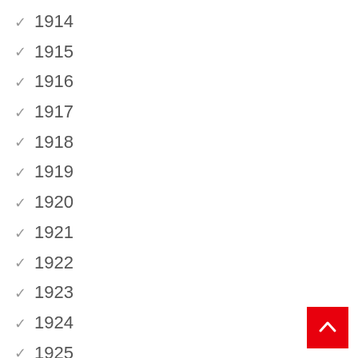1914
1915
1916
1917
1918
1919
1920
1921
1922
1923
1924
1925
1926
[Figure (other): Red back-to-top button with upward chevron arrow]